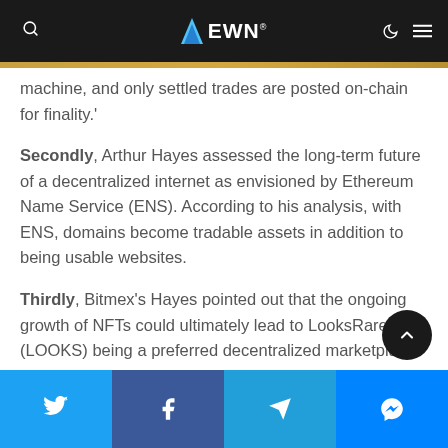EWN
machine, and only settled trades are posted on-chain for finality.'
Secondly, Arthur Hayes assessed the long-term future of a decentralized internet as envisioned by Ethereum Name Service (ENS). According to his analysis, with ENS, domains become tradable assets in addition to being usable websites.
Thirdly, Bitmex's Hayes pointed out that the ongoing growth of NFTs could ultimately lead to LooksRare (LOOKS) being a preferred decentralized marketplace for their trading. He explains:
Twitter | Facebook | Telegram | Messenger